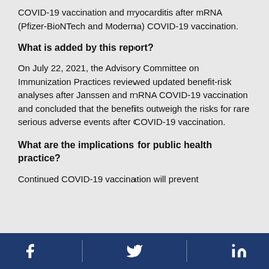COVID-19 vaccination and myocarditis after mRNA (Pfizer-BioNTech and Moderna) COVID-19 vaccination.
What is added by this report?
On July 22, 2021, the Advisory Committee on Immunization Practices reviewed updated benefit-risk analyses after Janssen and mRNA COVID-19 vaccination and concluded that the benefits outweigh the risks for rare serious adverse events after COVID-19 vaccination.
What are the implications for public health practice?
Continued COVID-19 vaccination will prevent
Social media icons: Facebook, Twitter, LinkedIn